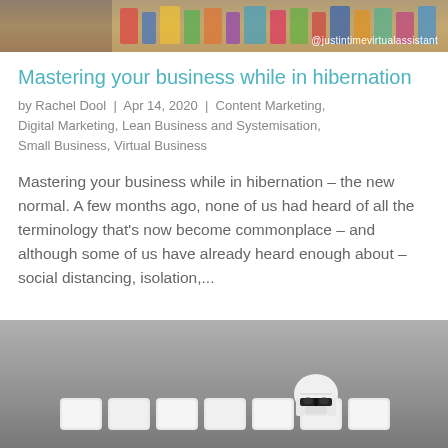[Figure (photo): Top portion of a colorful image (appears to be a shelving/retail scene), with @justintimevirtualassistant watermark in bottom right]
Mastering your business while in hibernation
by Rachel Dool | Apr 14, 2020 | Content Marketing, Digital Marketing, Lean Business and Systemisation, Small Business, Virtual Business
Mastering your business while in hibernation – the new normal. A few months ago, none of us had heard of all the terminology that's now become commonplace – and although some of us have already heard enough about – social distancing, isolation,...
[Figure (photo): Black and white photo showing a Stormtrooper LEGO figure peeking over keyboard keys]